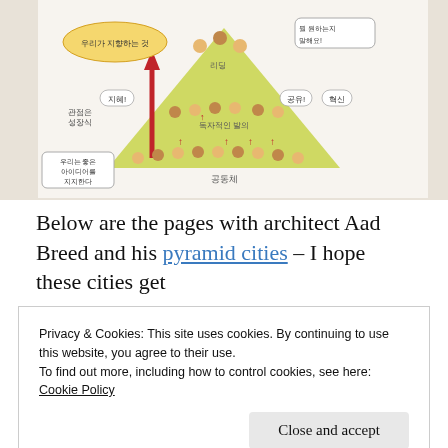[Figure (illustration): A photograph of an illustrated page showing a pyramid diagram with Korean text. The pyramid has cartoon figures of people at different levels. Korean labels include: 우리가 지향하는 것 (top-left oval), 뭘 원하는지 말해요! (speech bubble top-right), 리딩 (pyramid top), 지혜! (left), 공유! (right), 혁신 (far right), 관점은 성장식 (left side), 독자적인 발의 (middle level), 우리는 좋은 아이디어를 지지한다 (speech bubble left), 공동체 (bottom of pyramid). Red arrows point upward along the pyramid.]
Below are the pages with architect Aad Breed and his pyramid cities – I hope these cities get
Privacy & Cookies: This site uses cookies. By continuing to use this website, you agree to their use.
To find out more, including how to control cookies, see here:
Cookie Policy